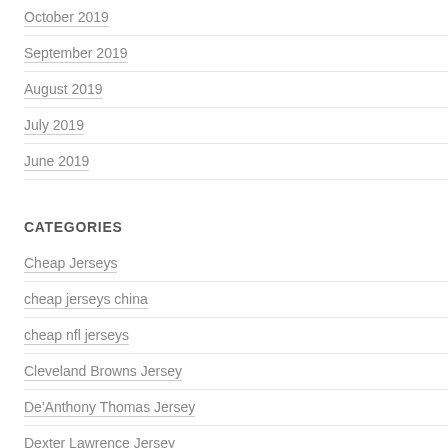October 2019
September 2019
August 2019
July 2019
June 2019
CATEGORIES
Cheap Jerseys
cheap jerseys china
cheap nfl jerseys
Cleveland Browns Jersey
De'Anthony Thomas Jersey
Dexter Lawrence Jersey